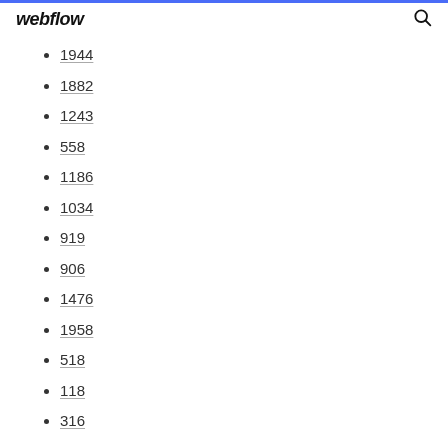webflow
1944
1882
1243
558
1186
1034
919
906
1476
1958
518
118
316